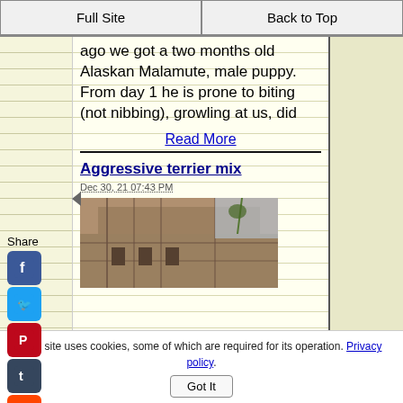Full Site | Back to Top
ago we got a two months old Alaskan Malamute, male puppy. From day 1 he is prone to biting (not nibbing), growling at us, did
Read More
Aggressive terrier mix
Dec 30, 21 07:43 PM
[Figure (photo): Photo of a building exterior, brownish tones with structural lines visible]
This site uses cookies, some of which are required for its operation. Privacy policy. Got It